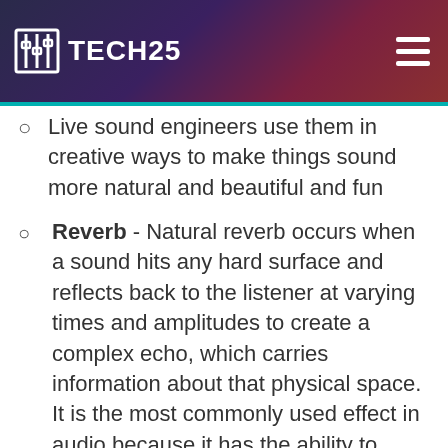TECH25
Live sound engineers use them in creative ways to make things sound more natural and beautiful and fun
Reverb - Natural reverb occurs when a sound hits any hard surface and reflects back to the listener at varying times and amplitudes to create a complex echo, which carries information about that physical space. It is the most commonly used effect in audio because it has the ability to make it sound like someone is in a certain place. For example, in a movie where actors are in a cavern. It will have a long trail, like when you yell in a tunnel. Every place sounds different, so